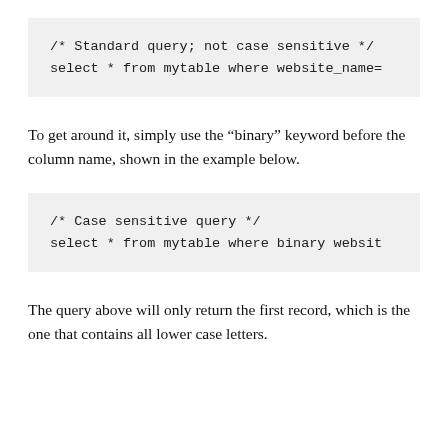/* Standard query; not case sensitive */
select * from mytable where website_name=
To get around it, simply use the “binary” keyword before the column name, shown in the example below.
/* Case sensitive query */
select * from mytable where binary websit
The query above will only return the first record, which is the one that contains all lower case letters.